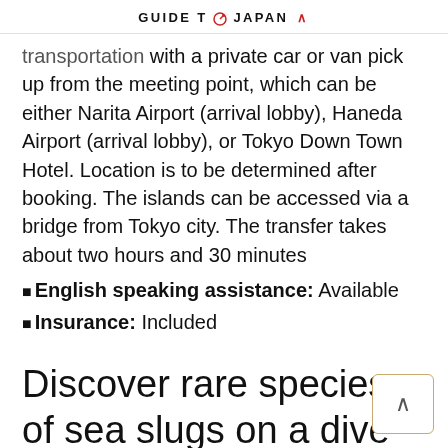GUIDE TO JAPAN ∧
transportation with a private car or van pick up from the meeting point, which can be either Narita Airport (arrival lobby), Haneda Airport (arrival lobby), or Tokyo Down Town Hotel. Location is to be determined after booking. The islands can be accessed via a bridge from Tokyo city. The transfer takes about two hours and 30 minutes
English speaking assistance: Available
Insurance: Included
Discover rare species of sea slugs on a dive trip off Jōgashima island